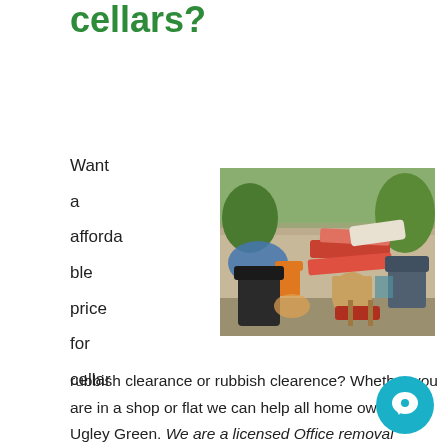cellars?
Want a affordable price for cellar
[Figure (photo): A large pile of old furniture and household junk (sofas, chairs, cushions, bags) stacked outdoors in a garden area]
rubbish clearance or rubbish clearence? Whether you are in a shop or flat we can help all home owners in Ugley Green. We are a licensed Office removal company based in Essex. We do all the lifting, loading and disposal so you don't have to. Whatever amount rubbish you have, our two man teams can safely co... and dispose of it. Stuff that we dispose of include